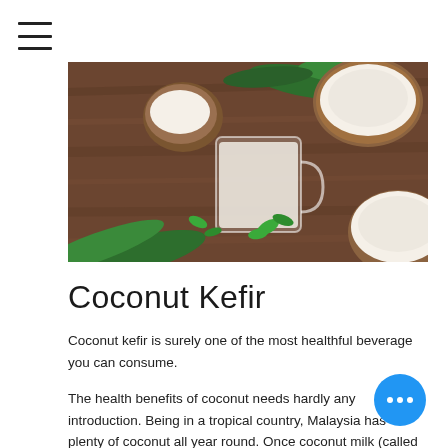≡
[Figure (photo): Overhead view of coconut halves, coconut milk in a glass mug, and fresh mint leaves on a wooden surface]
Coconut Kefir
Coconut kefir is surely one of the most healthful beverage you can consume.
The health benefits of coconut needs hardly any introduction. Being in a tropical country, Malaysia has plenty of coconut all year round. Once coconut milk (called santan locally) was demonized as possessing cholesterol and many shy away from having much coconut milk, it is now understood that provides one of the most healthy oils man can